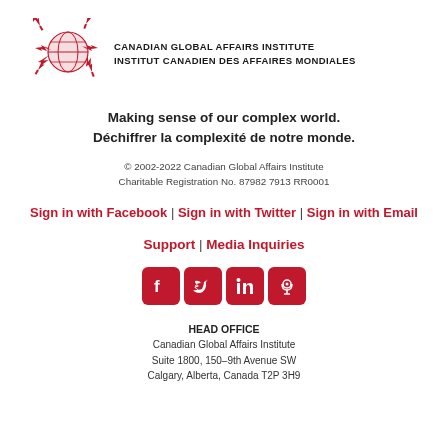[Figure (logo): Canadian Global Affairs Institute logo: red maple leaf globe motif with institute name in small caps]
Making sense of our complex world. Déchiffrer la complexité de notre monde.
© 2002-2022 Canadian Global Affairs Institute Charitable Registration No. 87982 7913 RR0001
Sign in with Facebook | Sign in with Twitter | Sign in with Email
Support | Media Inquiries
[Figure (illustration): Four red social media icons: Facebook, Twitter, LinkedIn, Podcast]
HEAD OFFICE
Canadian Global Affairs Institute
Suite 1800, 150–9th Avenue SW
Calgary, Alberta, Canada T2P 3H9